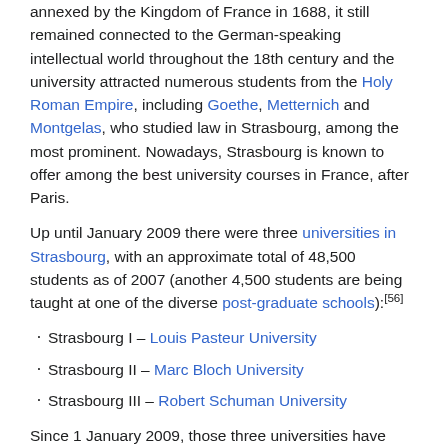annexed by the Kingdom of France in 1688, it still remained connected to the German-speaking intellectual world throughout the 18th century and the university attracted numerous students from the Holy Roman Empire, including Goethe, Metternich and Montgelas, who studied law in Strasbourg, among the most prominent. Nowadays, Strasbourg is known to offer among the best university courses in France, after Paris.
Up until January 2009 there were three universities in Strasbourg, with an approximate total of 48,500 students as of 2007 (another 4,500 students are being taught at one of the diverse post-graduate schools):[56]
Strasbourg I – Louis Pasteur University
Strasbourg II – Marc Bloch University
Strasbourg III – Robert Schuman University
Since 1 January 2009, those three universities have merged and constitute now the Université de Strasbourg. Schools part of the Université de Strasbourg include:
The IEP (Institut d'études politiques de Strasbourg), the University of Strasbourg's political science & international